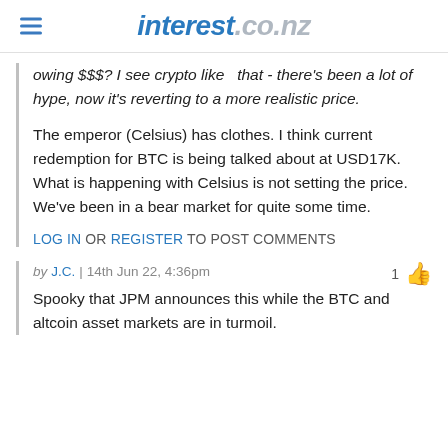interest.co.nz
owing $$$? I see crypto like  that - there's been a lot of hype, now it's reverting to a more realistic price.
The emperor (Celsius) has clothes. I think current redemption for BTC is being talked about at USD17K. What is happening with Celsius is not setting the price. We've been in a bear market for quite some time.
LOG IN OR REGISTER TO POST COMMENTS
by J.C. | 14th Jun 22, 4:36pm
Spooky that JPM announces this while the BTC and altcoin asset markets are in turmoil.